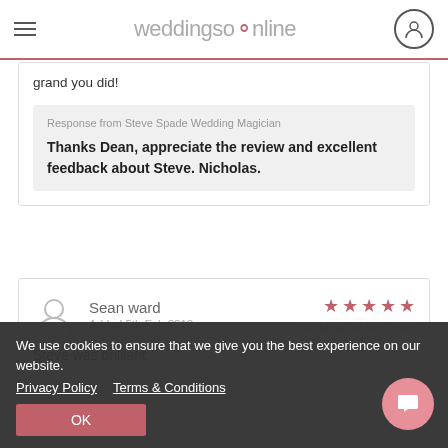weddingsonline
grand you did!
Response from Steve Spade Wedding Magician
Thanks Dean, appreciate the review and excellent feedback about Steve. Nicholas.
Sean ward
Added 5th Feb 2018
Wedding 1st Dec 2015
★★★★★
Steve was brilliant
We use cookies to ensure that we give you the best experience on our website.
Privacy Policy   Terms & Conditions
OK